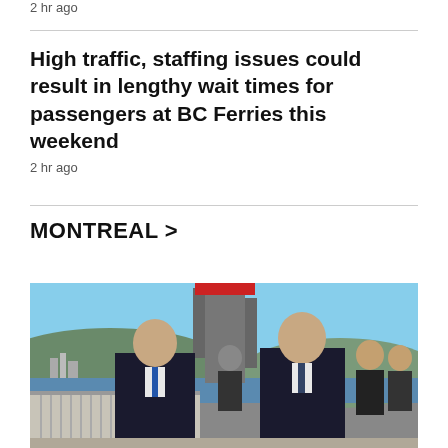2 hr ago
High traffic, staffing issues could result in lengthy wait times for passengers at BC Ferries this weekend
2 hr ago
MONTREAL >
[Figure (photo): Two men in dark suits walking outdoors with a scenic harbour and hills in the background, with other people visible behind them.]